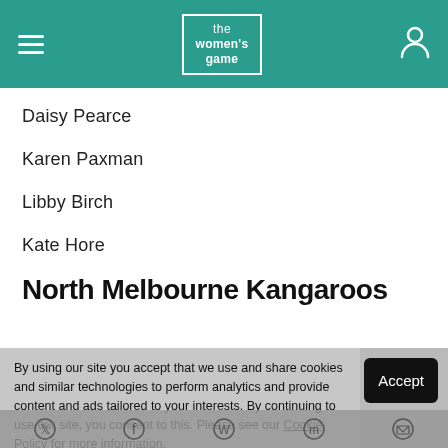the women's game
Daisy Pearce
Karen Paxman
Libby Birch
Kate Hore
North Melbourne Kangaroos
Emma Kearny
Jasmine Garner
By using our site you accept that we use and share cookies and similar technologies to perform analytics and provide content and ads tailored to your interests. By continuing to use our site, you consent to this. Please see our Cookie Policy for more information.